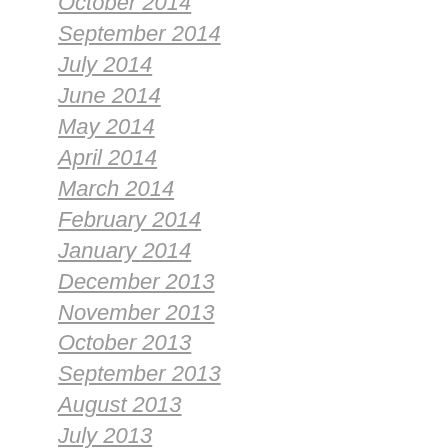October 2014
September 2014
July 2014
June 2014
May 2014
April 2014
March 2014
February 2014
January 2014
December 2013
November 2013
October 2013
September 2013
August 2013
July 2013
June 2013
May 2013
April 2013
March 2013